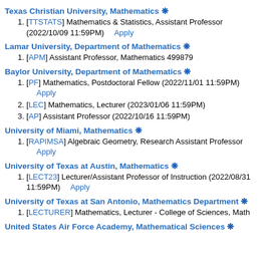Texas Christian University, Mathematics ❋
[TTSTATS] Mathematics & Statistics, Assistant Professor (2022/10/09 11:59PM)  Apply
Lamar University, Department of Mathematics ❋
[APM] Assistant Professor, Mathematics 499879
Baylor University, Department of Mathematics ❋
[PF] Mathematics, Postdoctoral Fellow (2022/11/01 11:59PM) Apply
[LEC] Mathematics, Lecturer (2023/01/06 11:59PM)
[AP] Assistant Professor (2022/10/16 11:59PM)
University of Miami, Mathematics ❋
[RAPIMSA] Algebraic Geometry, Research Assistant Professor Apply
University of Texas at Austin, Mathematics ❋
[LECT23] Lecturer/Assistant Professor of Instruction (2022/08/31 11:59PM)  Apply
University of Texas at San Antonio, Mathematics Department ❋
[LECTURER] Mathematics, Lecturer - College of Sciences, Math
United States Air Force Academy, Mathematical Sciences ❋